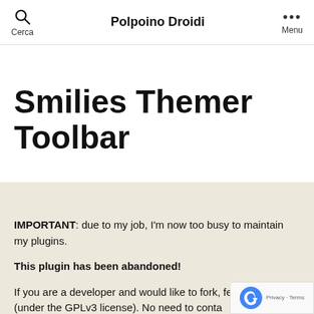Cerca | Polpoino Droidi | Menu
Smilies Themer Toolbar
IMPORTANT: due to my job, I'm now too busy to maintain my plugins.
This plugin has been abandoned!
If you are a developer and would like to fork, feel do so (under the GPLv3 license). No need to conta